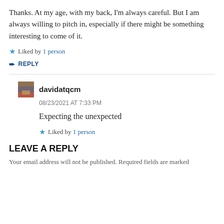Thanks. At my age, with my back, I'm always careful. But I am always willing to pitch in, especially if there might be something interesting to come of it.
Liked by 1 person
REPLY
davidatqcm
08/23/2021 AT 7:33 PM
Expecting the unexpected
Liked by 1 person
LEAVE A REPLY
Your email address will not be published. Required fields are marked